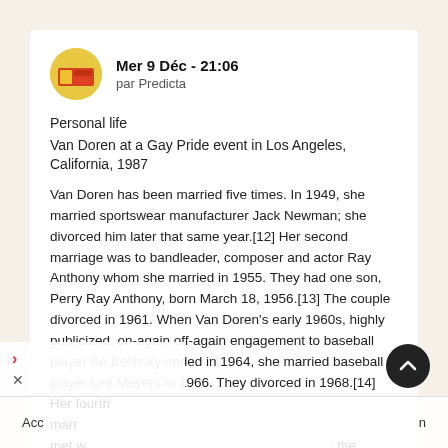Mer 9 Déc - 21:06
par Predicta
Personal life
Van Doren at a Gay Pride event in Los Angeles, California, 1987
Van Doren has been married five times. In 1949, she married sportswear manufacturer Jack Newman; she divorced him later that same year.[12] Her second marriage was to bandleader, composer and actor Ray Anthony whom she married in 1955. They had one son, Perry Ray Anthony, born March 18, 1956.[13] The couple divorced in 1961. When Van Doren's early 1960s, highly publicized, on-again off-again engagement to baseball player Bo Belinsky ended in 1964, she married baseball player Lee Meyers in 1966. They divorced in 1968.[14] Her fourth marr met w ; the
Acc n